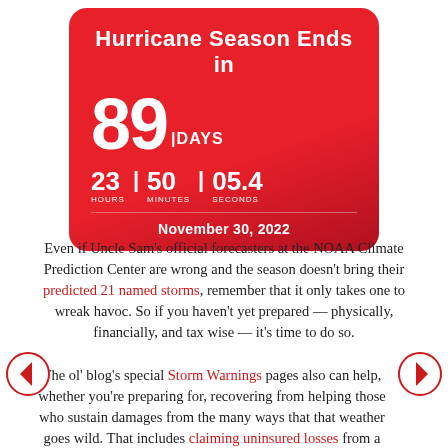[Figure (infographic): Red rounded rectangle countdown timer card showing 'Hurricane Season Ends in', 89 DAYS, 23 HOURS | 50 MINUTES | 05.4 SECONDS, November 30, 2022]
Even if Uncle Sam's official forecasters at the NOAA Climate Prediction Center are wrong and the season doesn't bring their predicted 21 named storms, remember that it only takes one to wreak havoc. So if you haven't yet prepared — physically, financially, and tax wise — it's time to do so.
The ol' blog's special Storm Warnings pages also can help, whether you're preparing for, recovering from helping those who sustain damages from the many ways that that weather goes wild. That includes claiming uninsured losses from a major natural